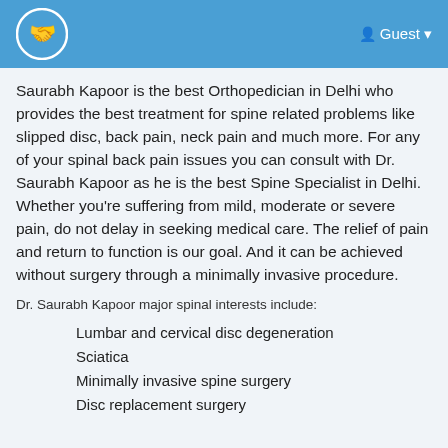Guest
Saurabh Kapoor is the best Orthopedician in Delhi who provides the best treatment for spine related problems like slipped disc, back pain, neck pain and much more. For any of your spinal back pain issues you can consult with Dr. Saurabh Kapoor as he is the best Spine Specialist in Delhi. Whether you're suffering from mild, moderate or severe pain, do not delay in seeking medical care. The relief of pain and return to function is our goal. And it can be achieved without surgery through a minimally invasive procedure.
Dr. Saurabh Kapoor major spinal interests include:
Lumbar and cervical disc degeneration
Sciatica
Minimally invasive spine surgery
Disc replacement surgery